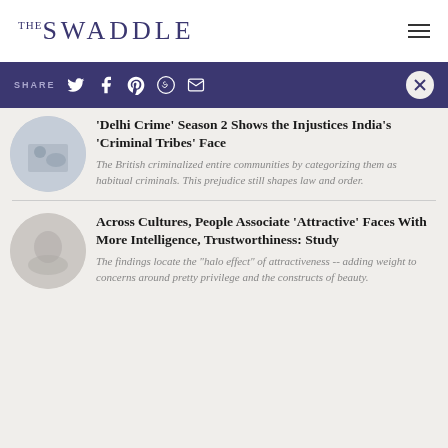THE SWADDLE
SHARE
'Delhi Crime' Season 2 Shows the Injustices India's 'Criminal Tribes' Face
The British criminalized entire communities by categorizing them as habitual criminals. This prejudice still shapes law and order.
Across Cultures, People Associate 'Attractive' Faces With More Intelligence, Trustworthiness: Study
The findings locate the "halo effect" of attractiveness -- adding weight to concerns around pretty privilege and the constructs of beauty.